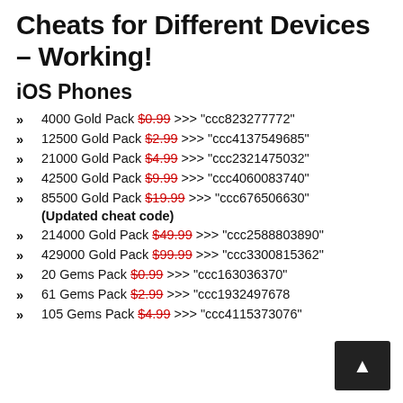Cheats for Different Devices – Working!
iOS Phones
4000 Gold Pack $0.99 >>> "ccc823277772"
12500 Gold Pack $2.99 >>> "ccc4137549685"
21000 Gold Pack $4.99 >>> "ccc2321475032"
42500 Gold Pack $9.99 >>> "ccc4060083740"
85500 Gold Pack $19.99 >>> "ccc676506630" (Updated cheat code)
214000 Gold Pack $49.99 >>> "ccc2588803890"
429000 Gold Pack $99.99 >>> "ccc3300815362"
20 Gems Pack $0.99 >>> "ccc163036370"
61 Gems Pack $2.99 >>> "ccc1932497678"
105 Gems Pack $4.99 >>> "ccc4115373076"